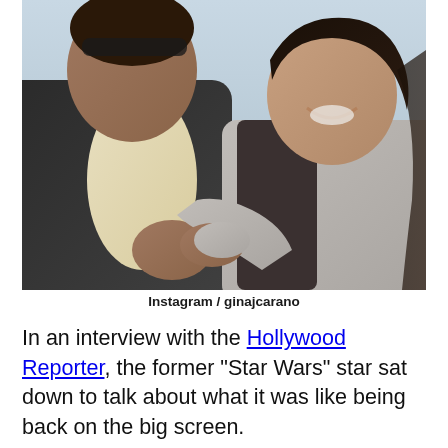[Figure (photo): Two people posing together outdoors. A man on the left wearing a light shirt and dark jacket with sunglasses on his head, and a smiling woman on the right leaning on his shoulder wearing a grey sweater with long dark hair.]
Instagram / ginajcarano
In an interview with the Hollywood Reporter, the former "Star Wars" star sat down to talk about what it was like being back on the big screen.